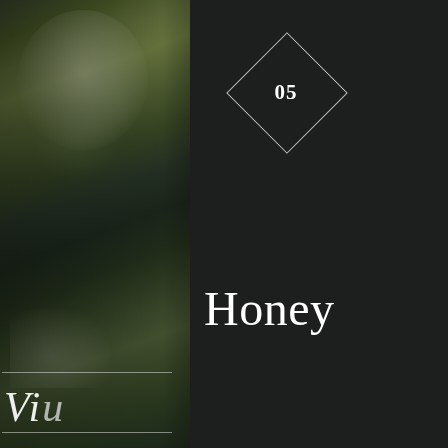[Figure (photo): Dark atmospheric garden/nature photograph showing blurred foliage, trees, and white flowers against a very dark background. A cursive script word 'Villa' (partially visible) with horizontal decorative lines appears overlaid on the left panel.]
05
Honey
two-year partnership with the de... servatory, Villa Baulieu has since... d around the almond grove, through... pollinate the almond trees, which in... estate was able to produce powderal...
a yellow honey with a pronounced... romas and flavours, is obtained from...